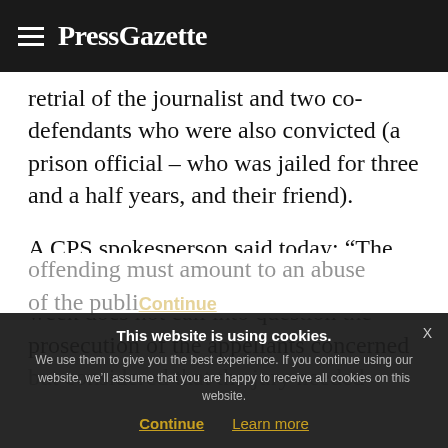PressGazette
retrial of the journalist and two co-defendants who were also convicted (a prison official – who was jailed for three and a half years, and their friend).
A CPS spokesperson said today: “The Court of Appeal judgment from last week does not call into question the prosecution of the appellants concerned but considered that the jury needed additional direction. However, if you offending must amount to an abuse of the publi
This website is using cookies. We use them to give you the best experience. If you continue using our website, we’ll assume that you are happy to receive all cookies on this website. Continue Learn more